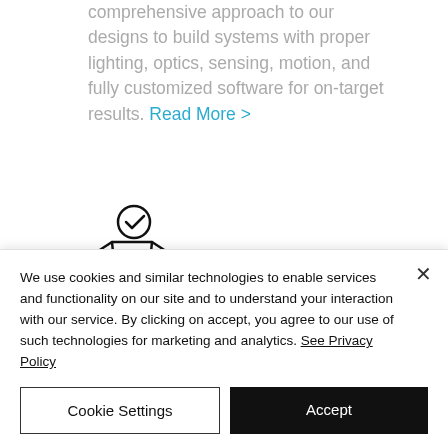comprehensive approach to our designs to build systems with proper lighting, optics, sensing, motion, and fully customized software for on-target results. Read More >
[Figure (illustration): Open cardboard box with a checkmark icon above it, line-art style illustration]
Product...
We use cookies and similar technologies to enable services and functionality on our site and to understand your interaction with our service. By clicking on accept, you agree to our use of such technologies for marketing and analytics. See Privacy Policy